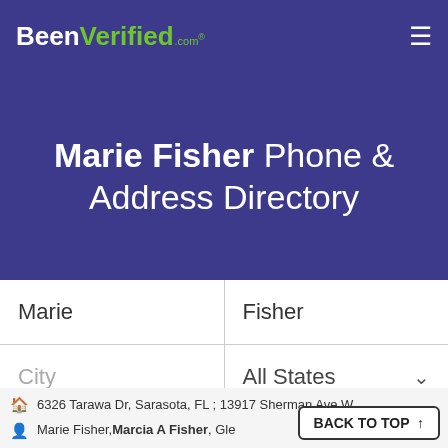BeenVerified.com
Marie Fisher Phone & Address Directory
Marie | Fisher
City | All States
SEARCH
6326 Tarawa Dr, Sarasota, FL ; 13917 Sherman Ave W
Marie Fisher, Marcia A Fisher, Gle
@ewpdesign.com
BACK TO TOP ↑